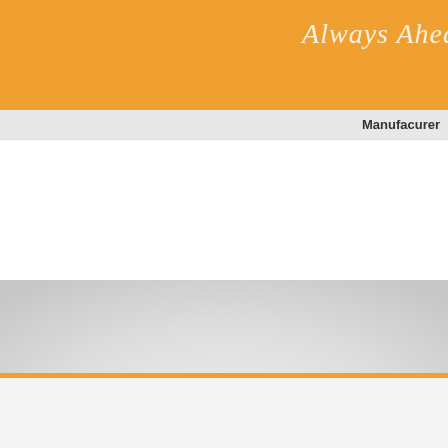[Figure (illustration): Orange header banner with cursive/script text reading 'Always Ahe...' (partially visible) on the right side in white italic script]
Manufacturer
[Figure (photo): Product showcase on gray gradient background showing three industrial items: a yellow fuse/connector component on the left, a black cylindrical tool or cable assembly in the center, and a teal/blue brake pad or industrial component on the right]
Product Category